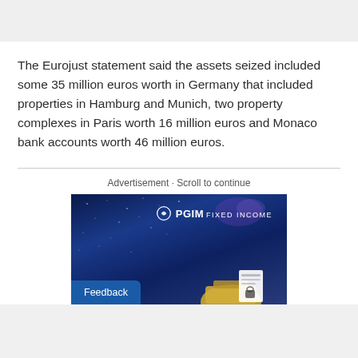The Eurojust statement said the assets seized included some 35 million euros worth in Germany that included properties in Hamburg and Munich, two property complexes in Paris worth 16 million euros and Monaco bank accounts worth 46 million euros.
Advertisement · Scroll to continue
[Figure (photo): PGIM Fixed Income advertisement banner showing a night sky with stars and a telescope/observatory dome, with 'PGIM FIXED INCOME' logo in top right]
Feedback